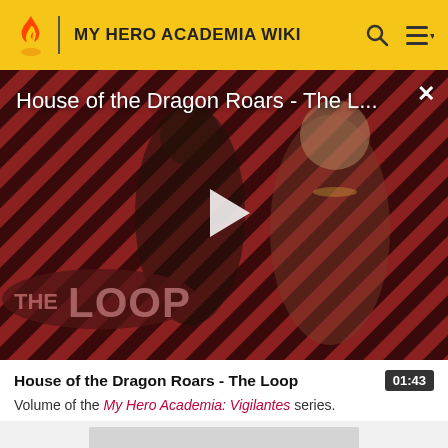MY HERO ACADEMIA WIKI
[Figure (screenshot): Video thumbnail for 'House of the Dragon Roars - The Loop' with a play button in the center. Shows two characters against a red diagonal-striped background. The Loop logo is visible in the lower left. An X close button is in the upper right.]
House of the Dragon Roars - The Loop
Volume of the My Hero Academia: Vigilantes series.